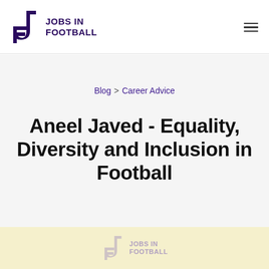Jobs in Football
Blog > Career Advice
Aneel Javed - Equality, Diversity and Inclusion in Football
29 Dec, 2020
[Figure (logo): Jobs in Football watermark logo on light yellow banner at bottom of page]